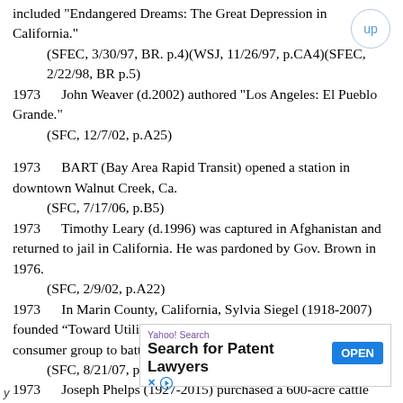included "Endangered Dreams: The Great Depression in California."
    (SFEC, 3/30/97, BR. p.4)(WSJ, 11/26/97, p.CA4)(SFEC, 2/22/98, BR p.5)
1973    John Weaver (d.2002) authored "Los Angeles: El Pueblo Grande."
    (SFC, 12/7/02, p.A25)

1973    BART (Bay Area Rapid Transit) opened a station in downtown Walnut Creek, Ca.
    (SFC, 7/17/06, p.B5)
1973    Timothy Leary (d.1996) was captured in Afghanistan and returned to jail in California. He was pardoned by Gov. Brown in 1976.
    (SFC, 2/9/02, p.A22)
1973    In Marin County, California, Sylvia Siegel (1918-2007) founded “Toward Utility Rate Normalization” (TURN), a consumer group to battle utility prices increases.
    (SFC, 8/21/07, p.B5)
1973    Joseph Phelps (1927-2015) purchased a 600-acre cattle ranch in Rutherford, Ca. and
[Figure (other): Yahoo Search advertisement banner reading 'Search for Patent Lawyers' with an OPEN button]